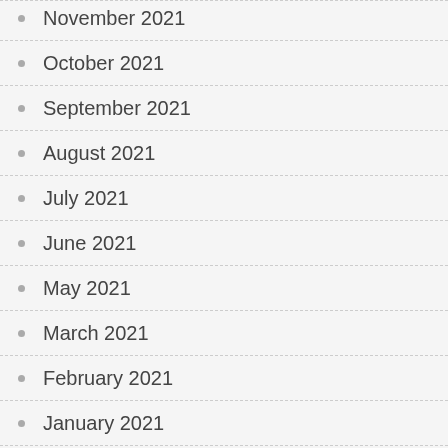November 2021
October 2021
September 2021
August 2021
July 2021
June 2021
May 2021
March 2021
February 2021
January 2021
December 2020
October 2020